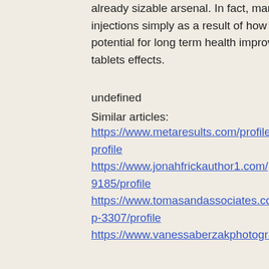already sizable arsenal. In fact, many people would choose oral steroids over injections simply as a result of how easy they are to administer, as well as the potential for long term health improvement associated with the compound, anabol tablets effects.
undefined
Similar articles:
https://www.metaresults.com/profile/steroid-seller-avis-sustanon-and-hgh-cy-9251/profile
https://www.jonahfrickauthor1.com/profile/once-you-start-testosterone-therapy-can-9185/profile
https://www.tomasandassociates.com/profile/side-effects-of-methotrexate-dianabol-p-3307/profile
https://www.vanessaberzakphotography.c...